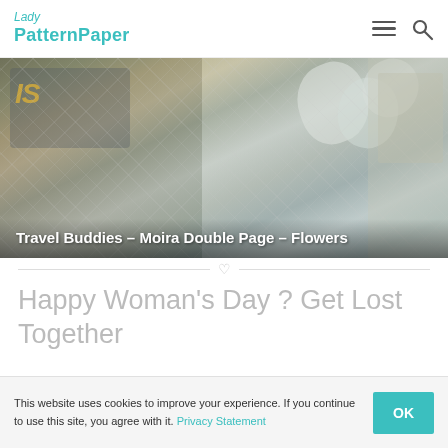Lady PatternPaper
[Figure (photo): Craft/scrapbook art photo showing mixed media elements including metal words, flowers, netting and illustrated backgrounds for the Travel Buddies collection]
Travel Buddies – Moira Double Page – Flowers
Happy Woman's Day ? Get Lost Together
A stunning Woman's Day treat, by Moira Gilowey, showing off the Travel Buddies collection!
This website uses cookies to improve your experience. If you continue to use this site, you agree with it. Privacy Statement